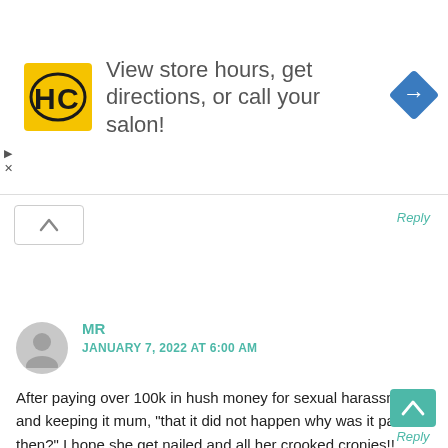[Figure (screenshot): Advertisement banner for HC (Hair Club) salon showing yellow logo with HC text, navigation arrow icon, and text 'View store hours, get directions, or call your salon!']
Reply
MR
JANUARY 7, 2022 AT 6:00 AM
After paying over 100k in hush money for sexual harassment and keeping it mum, "that it did not happen why was it paid then?" I hope she get nailed and all her crooked cronies!! Speak up NM!!!
Reply